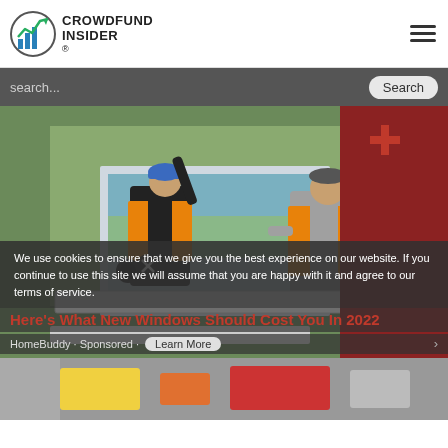CROWDFUND INSIDER®
search...
[Figure (photo): Two workers in orange safety vests installing a large window; one worker outside reaching up wearing a blue helmet, another inside holding the window frame, both wearing work gear and gloves]
We use cookies to ensure that we give you the best experience on our website. If you continue to use this site we will assume that you are happy with it and agree to our terms of service.
Here's What New Windows Should Cost You In 2022
HomeBuddy · Sponsored · Learn More
[Figure (photo): Partial view of a second article thumbnail at bottom of page]